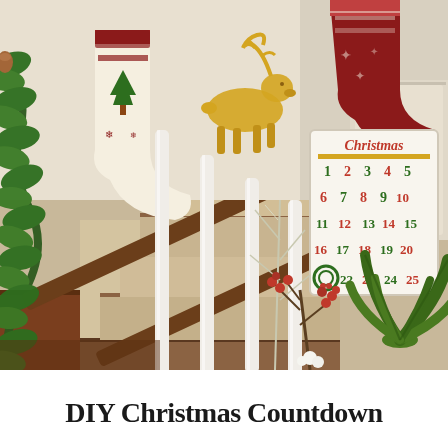[Figure (photo): A decorated staircase with Christmas holiday decorations including green garland, Christmas stockings with red and white patterns, a gold glitter reindeer decoration, white stair balusters, a Christmas countdown calendar board showing numbers 1-25, red berry branches, silver glitter branches, and a green tropical plant in the lower right corner.]
DIY Christmas Countdown